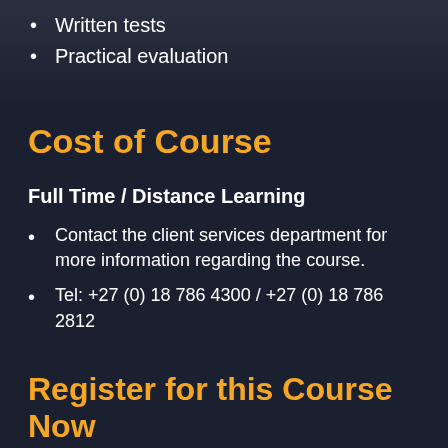Written tests
Practical evaluation
Cost of Course
Full Time / Distance Learning
Contact the client services department for more information regarding the course.
Tel: +27 (0) 18 786 4300 / +27 (0) 18 786 2812
Register for this Course Now